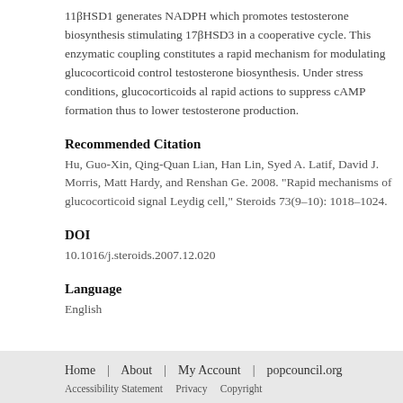11βHSD1 generates NADPH which promotes testosterone biosynthesis stimulating 17βHSD3 in a cooperative cycle. This enzymatic coupling constitutes a rapid mechanism for modulating glucocorticoid control of testosterone biosynthesis. Under stress conditions, glucocorticoids also have rapid actions to suppress cAMP formation thus to lower testosterone production.
Recommended Citation
Hu, Guo-Xin, Qing-Quan Lian, Han Lin, Syed A. Latif, David J. Morris, Matthew Hardy, and Renshan Ge. 2008. "Rapid mechanisms of glucocorticoid signaling in the Leydig cell," Steroids 73(9–10): 1018–1024.
DOI
10.1016/j.steroids.2007.12.020
Language
English
Home | About | My Account | popcouncil.org Accessibility Statement Privacy Copyright